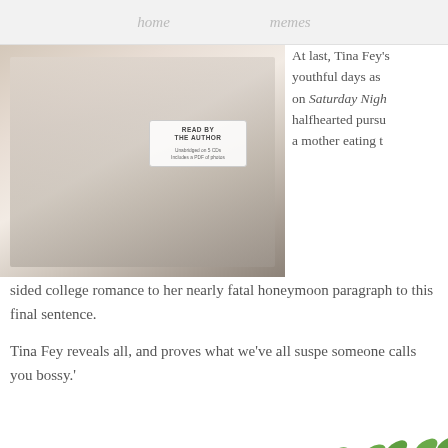home   memes
[Figure (photo): Book cover photo showing a person in a white shirt and dark tie, with a 'Read by the Author, Unabridged on 5 CDs, Includes a PDF of photos' badge overlay]
At last, Tina Fey's youthful days as on Saturday Night halfhearted pursu a mother eating t sided college romance to her nearly fatal honeymoon paragraph to this final sentence.
Tina Fey reveals all, and proves what we've all suspe someone calls you bossy.'
[Figure (illustration): Decorative floral branch illustration with green leaves and small red/pink berries]